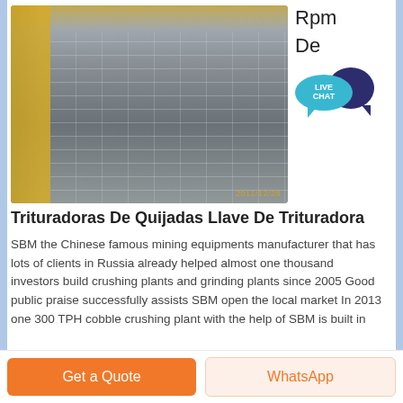[Figure (photo): Industrial machinery photo showing large spiral/screw conveyors in a factory setting with yellow metal framework, taken 2011/12/28]
Rpm
De
[Figure (infographic): Live Chat bubble icon in teal/blue with dark navy overlapping speech bubble]
Trituradoras De Quijadas Llave De Trituradora
SBM the Chinese famous mining equipments manufacturer that has lots of clients in Russia already helped almost one thousand investors build crushing plants and grinding plants since 2005 Good public praise successfully assists SBM open the local market In 2013 one 300 TPH cobble crushing plant with the help of SBM is built in
Get a Quote
WhatsApp